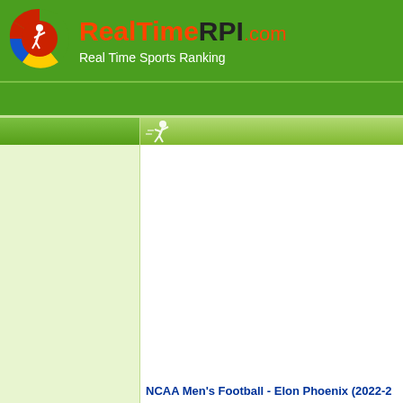RealTimeRPI.com - Real Time Sports Ranking
[Figure (logo): RealTimeRPI.com logo with circular sports icon and brand name]
NCAA Men's Football - Elon Phoenix (2022-2...